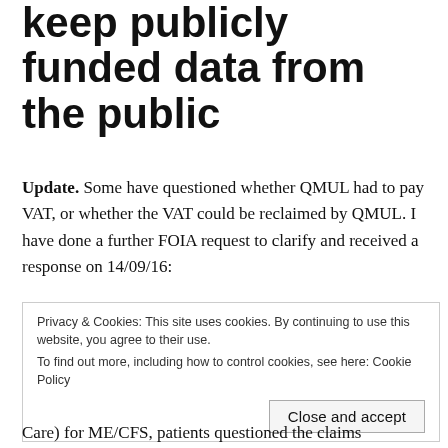keep publicly funded data from the public
Update. Some have questioned whether QMUL had to pay VAT, or whether the VAT could be reclaimed by QMUL. I have done a further FOIA request to clarify and received a response on 14/09/16:
'VAT at 20% was paid on these amounts.'
Privacy & Cookies: This site uses cookies. By continuing to use this website, you agree to their use.
To find out more, including how to control cookies, see here: Cookie Policy
Close and accept
Care) for ME/CFS, patients questioned the claims